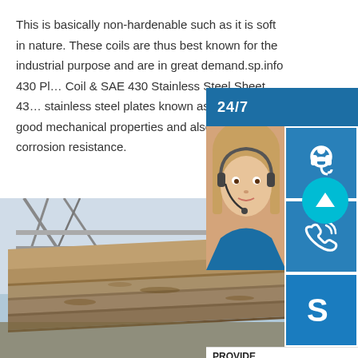This is basically non-hardenable such as it is soft in nature. These coils are thus best known for the industrial purpose and are in great demand.sp.info 430 Pl… Coil & SAE 430 Stainless Steel Sheet 43… stainless steel plates known as Ferritic s… good mechanical properties and also high… corrosion resistance.
[Figure (photo): Customer support chat widget overlay on the right side showing a headset-wearing woman, 24/7 label, phone icon, Skype icon, PROVIDE / Empowering Customers text, and an 'online live' button]
[Figure (photo): Stack of steel plates/sheets stored in an industrial warehouse, viewed from a low angle with structural beams visible in the background]